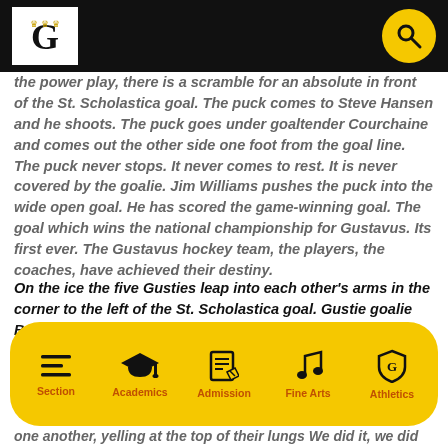Gustavus Adolphus College — website header with logo and search
the power play, there is a scramble for an absolute in front of the St. Scholastica goal. The puck comes to Steve Hansen and he shoots. The puck goes under goaltender Courchaine and comes out the other side one foot from the goal line. The puck never stops. It never comes to rest. It is never covered by the goalie. Jim Williams pushes the puck into the wide open goal. He has scored the game-winning goal. The goal which wins the national championship for Gustavus. Its first ever. The Gustavus hockey team, the players, the coaches, have achieved their destiny.
On the ice the five Gusties leap into each other's arms in the corner to the left of the St. Scholastica goal. Gustie goalie Brad Austin, tethered to the ice only by the weight of his pads,
[Figure (infographic): Yellow rounded navigation bar with five icons: Section (hamburger menu), Academics (graduation cap), Admission (document), Fine Arts (music note), Athletics (shield logo)]
one another, yelling at the top of their lungs  We did it, we did